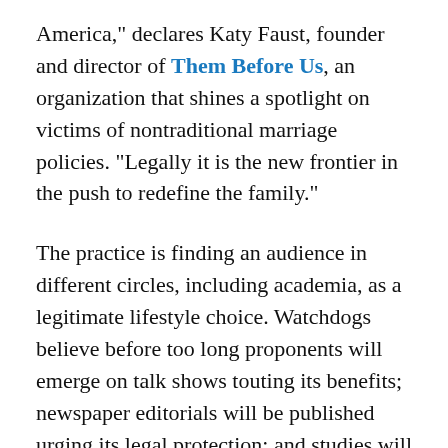America," declares Katy Faust, founder and director of Them Before Us, an organization that shines a spotlight on victims of nontraditional marriage policies. "Legally it is the new frontier in the push to redefine the family."
The practice is finding an audience in different circles, including academia, as a legitimate lifestyle choice. Watchdogs believe before too long proponents will emerge on talk shows touting its benefits; newspaper editorials will be published urging its legal protection; and studies will be released declaring that such relationships are benign for everyone involved, including children growing up in such an atmosphere. HGTV helped destigmatize the practice in February by featuring Brian, Lori, and Geli — a "throuple" — on House Hunters